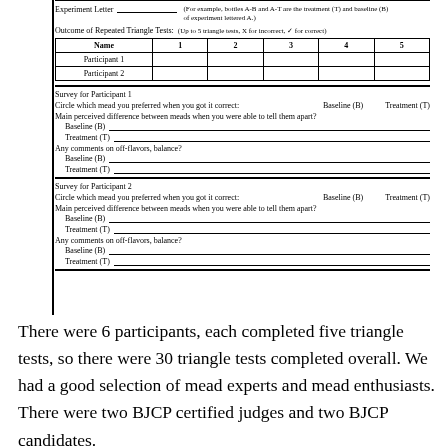Experiment Letter: _______________ (For example, bottles A-B and A-T are the treatment (T) and baseline (B) of experiment lettered A.)
Outcome of Repeated Triangle Tests: (Up to 5 triangle tests, X for incorrect, ✓ for correct)
| Name | 1 | 2 | 3 | 4 | 5 |
| --- | --- | --- | --- | --- | --- |
| Participant 1 |  |  |  |  |  |
| Participant 2 |  |  |  |  |  |
Survey for Participant 1
Circle which mead you preferred when you got it correct:   Baseline (B)   Treatment (T)
Main perceived difference between meads when you were able to tell them apart?
Baseline (B)   ___________________________________________
Treatment (T)   ___________________________________________
Any comments on off-flavors, balance?
Baseline (B)   ___________________________________________
Treatment (T)   ___________________________________________
Survey for Participant 2
Circle which mead you preferred when you got it correct:   Baseline (B)   Treatment (T)
Main perceived difference between meads when you were able to tell them apart?
Baseline (B)   ___________________________________________
Treatment (T)   ___________________________________________
Any comments on off-flavors, balance?
Baseline (B)   ___________________________________________
Treatment (T)   ___________________________________________
There were 6 participants, each completed five triangle tests, so there were 30 triangle tests completed overall. We had a good selection of mead experts and mead enthusiasts. There were two BJCP certified judges and two BJCP candidates.